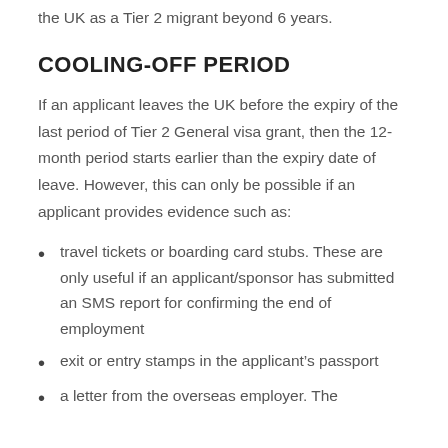the UK as a Tier 2 migrant beyond 6 years.
COOLING-OFF PERIOD
If an applicant leaves the UK before the expiry of the last period of Tier 2 General visa grant, then the 12-month period starts earlier than the expiry date of leave. However, this can only be possible if an applicant provides evidence such as:
travel tickets or boarding card stubs. These are only useful if an applicant/sponsor has submitted an SMS report for confirming the end of employment
exit or entry stamps in the applicant's passport
a letter from the overseas employer. The